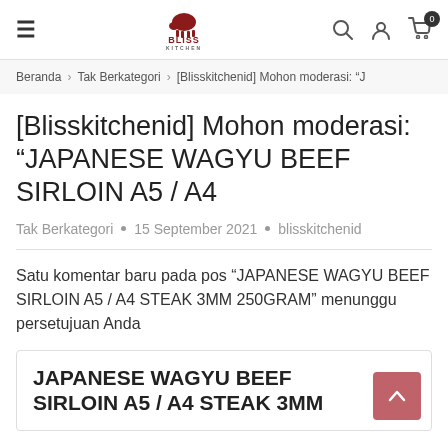Bliss Kitchen — site header with hamburger menu, logo, search, user, and cart icons
Beranda > Tak Berkategori > [Blisskitchenid] Mohon moderasi: "J
[Blisskitchenid] Mohon moderasi: "JAPANESE WAGYU BEEF SIRLOIN A5 / A4
Tak Berkategori • 15 September 2021 • blisskitchenid
Satu komentar baru pada pos "JAPANESE WAGYU BEEF SIRLOIN A5 / A4 STEAK 3MM 250GRAM" menunggu persetujuan Anda
JAPANESE WAGYU BEEF SIRLOIN A5 / A4 STEAK 3MM